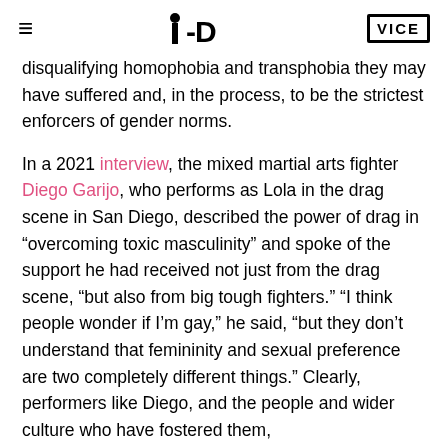i-D   VICE
disqualifying homophobia and transphobia they may have suffered and, in the process, to be the strictest enforcers of gender norms.
In a 2021 interview, the mixed martial arts fighter Diego Garijo, who performs as Lola in the drag scene in San Diego, described the power of drag in “overcoming toxic masculinity” and spoke of the support he had received not just from the drag scene, “but also from big tough fighters.” “I think people wonder if I’m gay,” he said, “but they don’t understand that femininity and sexual preference are two completely different things.” Clearly, performers like Diego, and the people and wider culture who have fostered them,